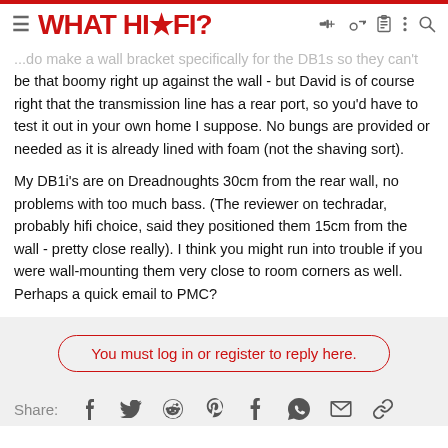WHAT HI-FI?
...do make a wall bracket specifically for the DB1s so they can't be that boomy right up against the wall - but David is of course right that the transmission line has a rear port, so you'd have to test it out in your own home I suppose. No bungs are provided or needed as it is already lined with foam (not the shaving sort).
My DB1i's are on Dreadnoughts 30cm from the rear wall, no problems with too much bass. (The reviewer on techradar, probably hifi choice, said they positioned them 15cm from the wall - pretty close really). I think you might run into trouble if you were wall-mounting them very close to room corners as well. Perhaps a quick email to PMC?
You must log in or register to reply here.
Share: